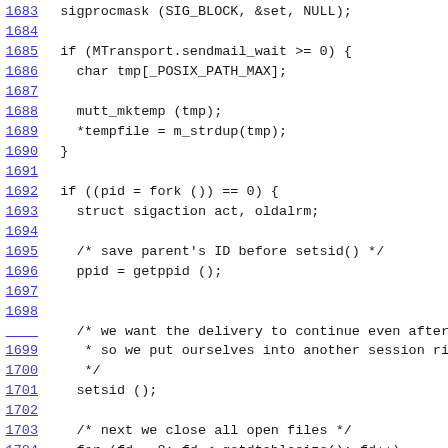[Figure (other): Source code listing showing C code lines 1683–1706 with hyperlinked line numbers in blue, showing sigprocmask, fork, setsid, and file-closing logic]